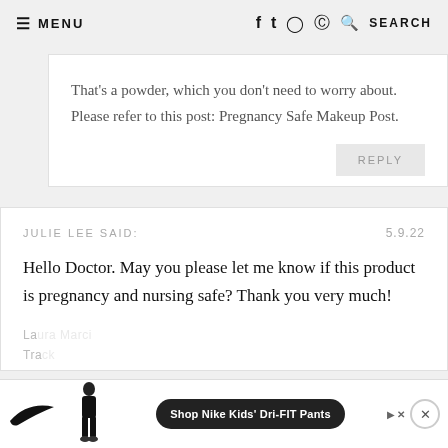≡ MENU   f  t  ◎  ⊕  🔍 SEARCH
That's a powder, which you don't need to worry about. Please refer to this post: Pregnancy Safe Makeup Post.
REPLY
JULIE LEE SAID:   5.9.22
Hello Doctor. May you please let me know if this product is pregnancy and nursing safe? Thank you very much!
La...   Tra...
[Figure (screenshot): Nike advertisement banner at bottom showing a figure in black athletic wear, Nike swoosh logo, and text 'Shop Nike Kids' Dri-FIT Pants' with close button]